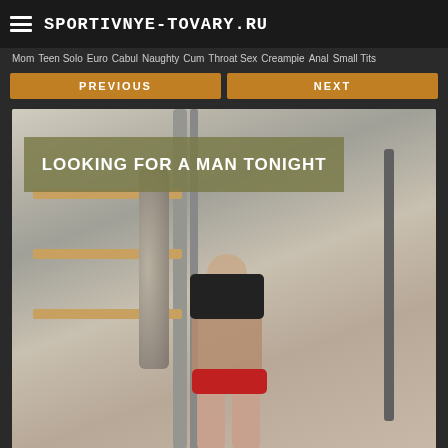SPORTIVNYE-TOVARY.RU
Mom  Teen Solo  Euro  Cabul  Naughty  Cum  Throat Sex  Creampie  Anal  Small Tits
PREVIOUS
NEXT
[Figure (photo): Woman posing in a gym/staircase setting wearing black top and red shorts, with overlay title text 'LOOKING FOR A MAN TONIGHT']
LOOKING FOR A MAN TONIGHT